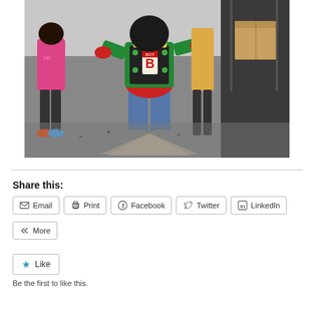[Figure (photo): A person wearing a colorful costume (green, red, black with letter B) at what appears to be an outdoor event or market, with a child in a pink jacket nearby and a cardboard box in the background.]
Share this:
Email  Print  Facebook  Twitter  LinkedIn  More
Like
Be the first to like this.